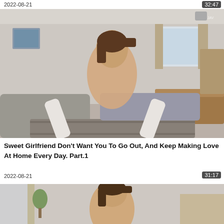2022-08-21
32:47
[Figure (photo): Video thumbnail showing interior room scene]
Sweet Girlfriend Don't Want You To Go Out, And Keep Making Love At Home Every Day. Part.1
2022-08-21
31:17
[Figure (photo): Second video thumbnail showing partial view of person in interior room]